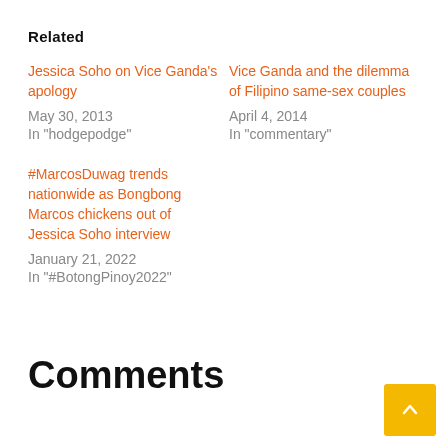Related
Jessica Soho on Vice Ganda's apology
May 30, 2013
In "hodgepodge"
Vice Ganda and the dilemma of Filipino same-sex couples
April 4, 2014
In "commentary"
#MarcosDuwag trends nationwide as Bongbong Marcos chickens out of Jessica Soho interview
January 21, 2022
In "#BotongPinoy2022"
Comments
comments